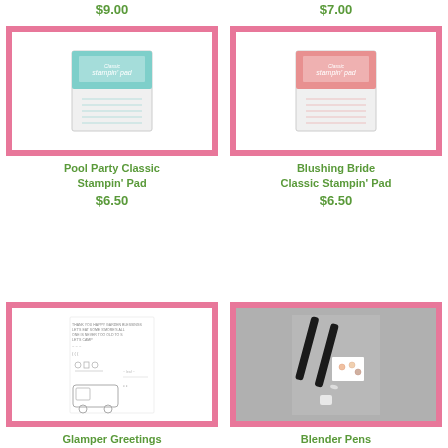$9.00
$7.00
[Figure (photo): Pool Party Classic Stampin' Pad - teal/aqua colored ink pad]
Pool Party Classic Stampin' Pad
$6.50
[Figure (photo): Blushing Bride Classic Stampin' Pad - pink colored ink pad]
Blushing Bride Classic Stampin' Pad
$6.50
[Figure (photo): Glamper Greetings Photopolymer Stamp Set sheet showing various stamp designs]
Glamper Greetings Photopolymer Stamp Set
[Figure (photo): Blender Pens - two black blending pens with a cap and stamped flower image]
Blender Pens
$10.00